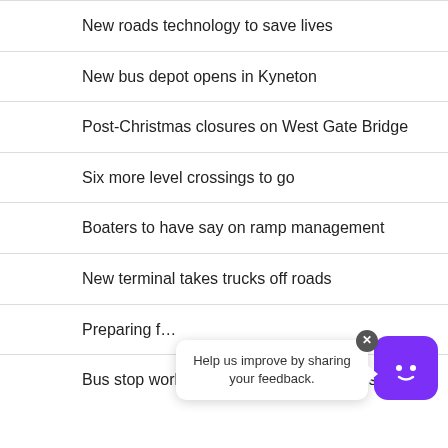New roads technology to save lives
New bus depot opens in Kyneton
Post-Christmas closures on West Gate Bridge
Six more level crossings to go
Boaters to have say on ramp management
New terminal takes trucks off roads
Preparing f…
Bus stop works improving DART journeys